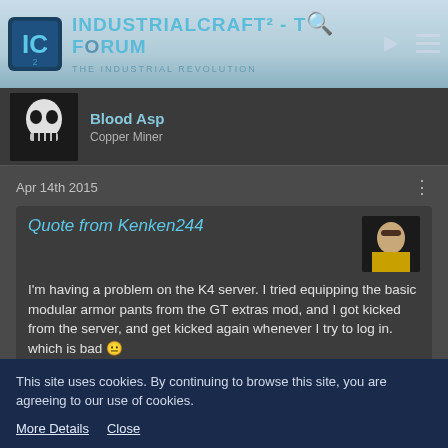IndustrialCraft² - Top Forum - The Industrial Revolution
Blood Asp
Copper Miner
Apr 14th 2015
Quote from Kenken244

I'm having a problem on the K4 server. I tried equipping the basic modular armor pants from the GT extras mod, and I got kicked from the server, and get kicked again whenever I try to log in. which is bad 😐
Do you remember what you have installed in the Armor?
This site uses cookies. By continuing to browse this site, you are agreeing to our use of cookies.
More Details   Close